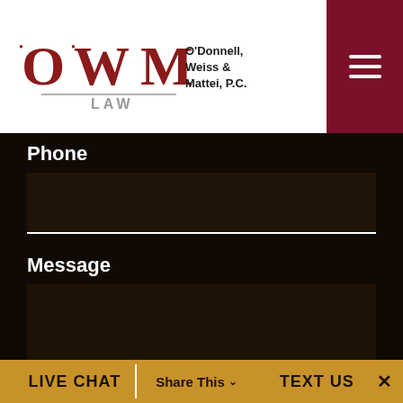[Figure (logo): O'Donnell, Weiss & Mattei, P.C. OWM Law logo with stylized letters and firm name]
Phone
Message
LIVE CHAT   Share This ∨   TEXT US   ✕